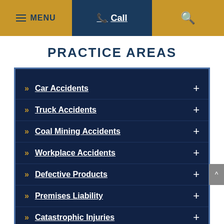MENU  Call  [search]
PRACTICE AREAS
Car Accidents
Truck Accidents
Coal Mining Accidents
Workplace Accidents
Defective Products
Premises Liability
Catastrophic Injuries